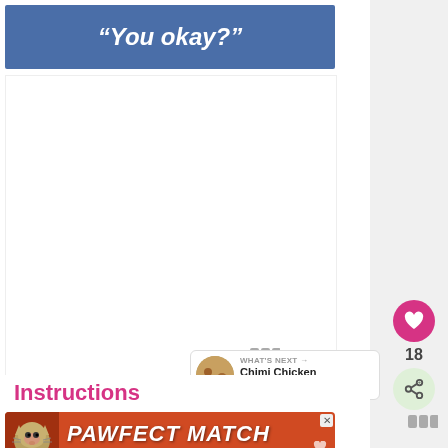“You okay?”
[Figure (screenshot): White empty content area below the blue header, representing a recipe or article page body]
[Figure (infographic): Pink heart like button, count 18, and share button on right sidebar]
[Figure (infographic): What's Next popup with image and text: Chimi Chicken and Yellow...]
Instructions
[Figure (advertisement): PAWFECT MATCH advertisement banner with cat image on orange/red background]